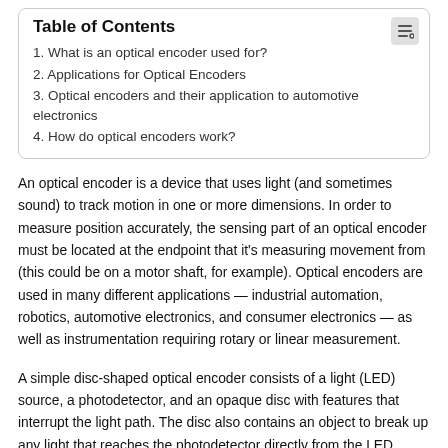| 1. What is an optical encoder used for? |
| 2. Applications for Optical Encoders |
| 3. Optical encoders and their application to automotive electronics |
| 4. How do optical encoders work? |
An optical encoder is a device that uses light (and sometimes sound) to track motion in one or more dimensions. In order to measure position accurately, the sensing part of an optical encoder must be located at the endpoint that it's measuring movement from (this could be on a motor shaft, for example). Optical encoders are used in many different applications — industrial automation, robotics, automotive electronics, and consumer electronics — as well as instrumentation requiring rotary or linear measurement.
A simple disc-shaped optical encoder consists of a light (LED) source, a photodetector, and an opaque disc with features that interrupt the light path. The disc also contains an object to break up any light that reaches the photodetector directly from the LED